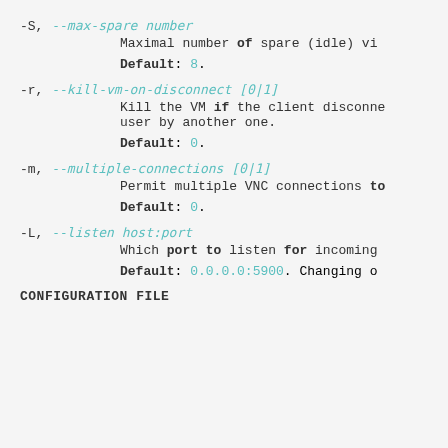-S, --max-spare number
        Maximal number of spare (idle) vi...
        Default: 8.
-r, --kill-vm-on-disconnect [0|1]
        Kill the VM if the client disconne...
        user by another one.
        Default: 0.
-m, --multiple-connections [0|1]
        Permit multiple VNC connections to...
        Default: 0.
-L, --listen host:port
        Which port to listen for incoming...
        Default: 0.0.0.0:5900. Changing o...
CONFIGURATION FILE